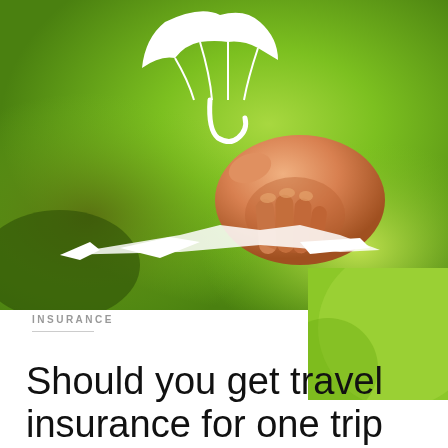[Figure (photo): A hand holding a white paper cutout umbrella over a white paper cutout airplane on a green bokeh background, suggesting travel insurance protection.]
INSURANCE
Should you get travel insurance for one trip